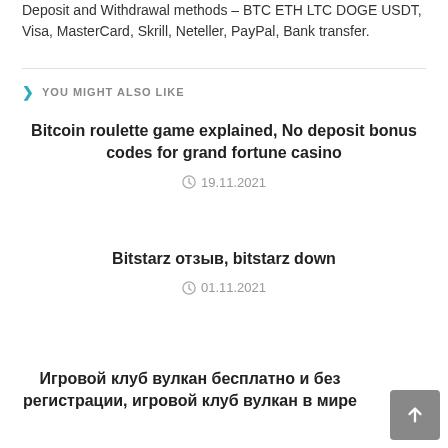Deposit and Withdrawal methods – BTC ETH LTC DOGE USDT, Visa, MasterCard, Skrill, Neteller, PayPal, Bank transfer.
YOU MIGHT ALSO LIKE
Bitcoin roulette game explained, No deposit bonus codes for grand fortune casino
19.11.2021
Bitstarz отзыв, bitstarz down
01.11.2021
Игровой клуб вулкан бесплатно и без регистрации, игровой клуб вулкан в мире